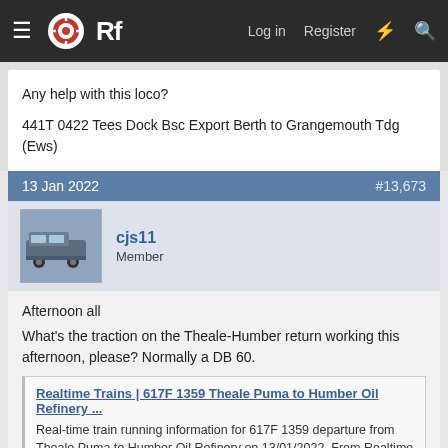ORf  Log in  Register
Any help with this loco?

441T 0422 Tees Dock Bsc Export Berth to Grangemouth Tdg (Ews)
13 Jan 2022  #13,673
cjs11
Member
Afternoon all
What's the traction on the Theale-Humber return working this afternoon, please? Normally a DB 60.
Realtime Trains | 617F 1359 Theale Puma to Humber Oil Refinery ...
Real-time train running information for 617F 1359 departure from Theale Puma to Humber Oil Refinery on 13/01/2022. From Realtime Trains, an independent source of train running info for Great Britain.
www.realtimetrains.co.uk